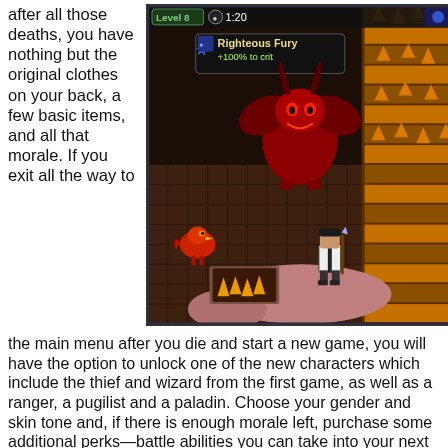after all those deaths, you have nothing but the original clothes on your back, a few basic items, and all that morale. If you exit all the way to the main menu after you die and start a new game, you will have the option to unlock one of the new characters which include the thief and wizard from the first game, as well as a ranger, a pugilist and a paladin. Choose your gender and skin tone and, if there is enough morale left, purchase some additional perks—battle abilities you can take into your next iteration. Each time you enter the map you'll enter something similar to the map you had before. They aren't
[Figure (screenshot): A pixel-art RPG game screenshot showing a dungeon scene. The UI shows 'Level 8' and a timer '1:20' at the top. A buff tooltip reads 'Righteous Fury +100% to crit'. The scene shows a large red demon/boss creature in the center, a smaller red bird creature on the left, a player character (wearing white/dark outfit) in the center-right, lava/fire tiles on the right side, and dungeon floor tiles throughout. The background has dark brown stone walls.]